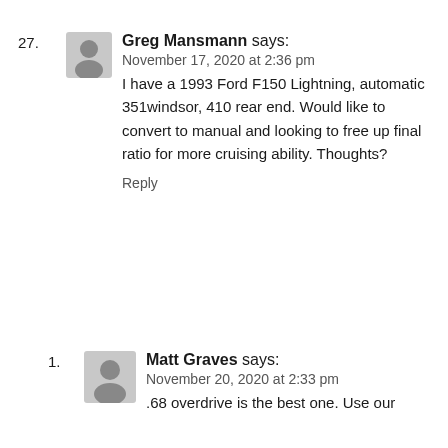27. Greg Mansmann says:
November 17, 2020 at 2:36 pm
I have a 1993 Ford F150 Lightning, automatic 351windsor, 410 rear end. Would like to convert to manual and looking to free up final ratio for more cruising ability. Thoughts?
Reply
1. Matt Graves says:
November 20, 2020 at 2:33 pm
.68 overdrive is the best one. Use our